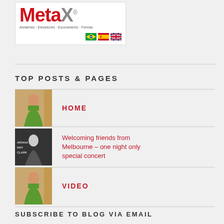[Figure (logo): MetaX logo with tagline: Andaimes · Elevadores · Escoramento · Fôrmas, plus Brazilian, Spanish, and UK flag icons]
TOP POSTS & PAGES
[Figure (photo): Thumbnail photo of a woman in green dress]
HOME
[Figure (photo): Thumbnail photo with text overlay: ARIANA MAY CLARK]
Welcoming friends from Melbourne – one night only special concert
[Figure (photo): Thumbnail photo of a woman in green dress]
VIDEO
SUBSCRIBE TO BLOG VIA EMAIL